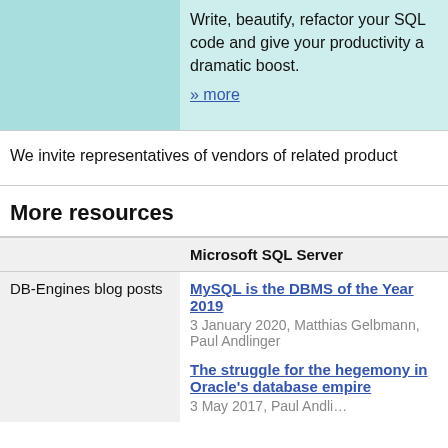Write, beautify, refactor your SQL code and give your productivity a dramatic boost.
» more
We invite representatives of vendors of related product
More resources
|  | Microsoft SQL Server |
| --- | --- |
| DB-Engines blog posts | MySQL is the DBMS of the Year 2019
3 January 2020, Matthias Gelbmann, Paul Andlinger

The struggle for the hegemony in Oracle's database empire
3 May 2017, Paul Andli... |